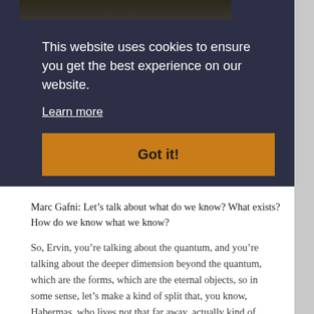[Figure (photo): Partial photo strip at top of page showing a dark background image, partially cropped]
This website uses cookies to ensure you get the best experience on our website.
Learn more
Got it!
Marc Gafni: Let’s talk about what do we know? What exists? How do we know what we know?
So, Ervin, you’re talking about the quantum, and you’re talking about the deeper dimension beyond the quantum, which are the forms, which are the eternal objects, so in some sense, let’s make a kind of split that, you know, Habermas, who lives not that far away, actually kind of points out very beautifully, and we’ve built pieces of integral theory based on it, a distinction between the eye of the senses, the eye of contemplation and the spirit, and the eye of the mind, which is a distinction I know that you’re familiar with, and it’s a helpful distinction. So the